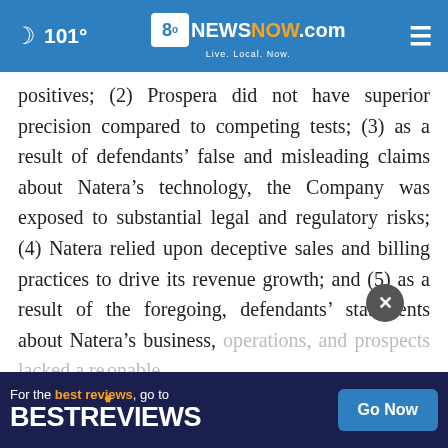101° | 8oBESTNEWSNOW.com Live. Local. Now.
positives; (2) Prospera did not have superior precision compared to competing tests; (3) as a result of defendants' false and misleading claims about Natera's technology, the Company was exposed to substantial legal and regulatory risks; (4) Natera relied upon deceptive sales and billing practices to drive its revenue growth; and (5) as a result of the foregoing, defendants' statements about Natera's business, operations, and prospects lacked a reasonable basis and/or were not true; and affected the market,
[Figure (screenshot): BestReviews advertisement banner with 'Go Now' button]